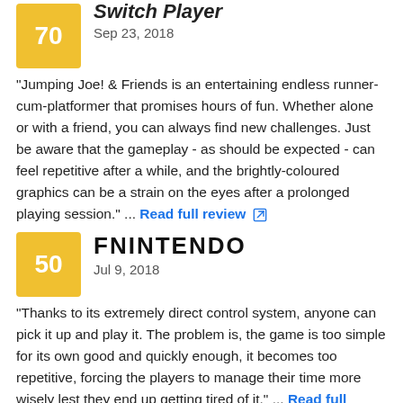[Figure (other): Score box showing 70 in yellow/gold square with Switch Player source logo and date Sep 23, 2018]
"Jumping Joe! & Friends is an entertaining endless runner-cum-platformer that promises hours of fun. Whether alone or with a friend, you can always find new challenges. Just be aware that the gameplay - as should be expected - can feel repetitive after a while, and the brightly-coloured graphics can be a strain on the eyes after a prolonged playing session." ... Read full review
[Figure (other): Score box showing 50 in yellow/gold square with FNintendo source logo and date Jul 9, 2018]
"Thanks to its extremely direct control system, anyone can pick it up and play it. The problem is, the game is too simple for its own good and quickly enough, it becomes too repetitive, forcing the players to manage their time more wisely lest they end up getting tired of it." ... Read full review